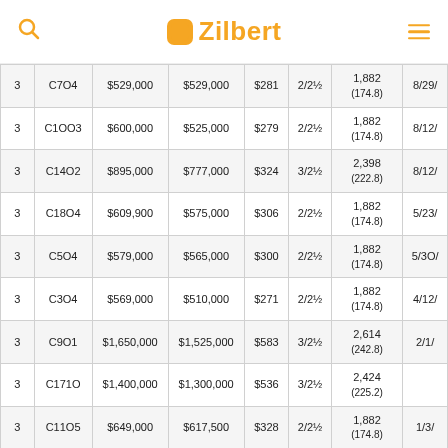Zilbert
|  | Unit | List Price | Sold Price | $/SF | Bed/Bath | SF | Date |
| --- | --- | --- | --- | --- | --- | --- | --- |
| 3 | C704 | $529,000 | $529,000 | $281 | 2/2½ | 1,882
(174.8) | 8/29/ |
| 3 | C1003 | $600,000 | $525,000 | $279 | 2/2½ | 1,882
(174.8) | 8/12/ |
| 3 | C1402 | $895,000 | $777,000 | $324 | 3/2½ | 2,398
(222.8) | 8/12/ |
| 3 | C1804 | $609,900 | $575,000 | $306 | 2/2½ | 1,882
(174.8) | 5/23/ |
| 3 | C504 | $579,000 | $565,000 | $300 | 2/2½ | 1,882
(174.8) | 5/30/ |
| 3 | C304 | $569,000 | $510,000 | $271 | 2/2½ | 1,882
(174.8) | 4/12/ |
| 3 | C901 | $1,650,000 | $1,525,000 | $583 | 3/2½ | 2,614
(242.8) | 2/1/ |
| 3 | C1710 | $1,400,000 | $1,300,000 | $536 | 3/2½ | 2,424
(225.2) |  |
| 3 | C1105 | $649,000 | $617,500 | $328 | 2/2½ | 1,882
(174.8) | 1/3/ |